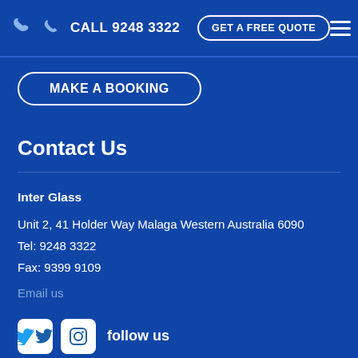CALL 9248 3322  GET A FREE QUOTE
MAKE A BOOKING
Contact Us
Inter Glass
Unit 2, 41 Holder Way Malaga Western Australia 6090
Tel: 9248 3322
Fax: 9399 9109
Email us
follow us